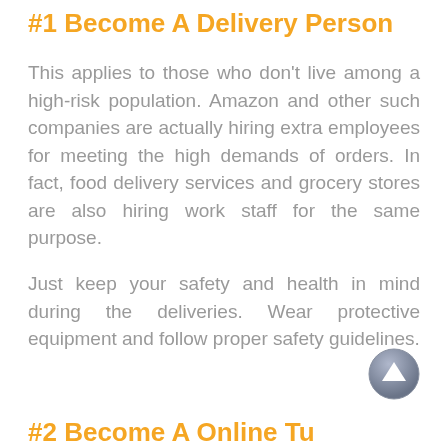#1 Become A Delivery Person
This applies to those who don't live among a high-risk population. Amazon and other such companies are actually hiring extra employees for meeting the high demands of orders. In fact, food delivery services and grocery stores are also hiring work staff for the same purpose.
Just keep your safety and health in mind during the deliveries. Wear protective equipment and follow proper safety guidelines.
#2 Become A Online Tu...